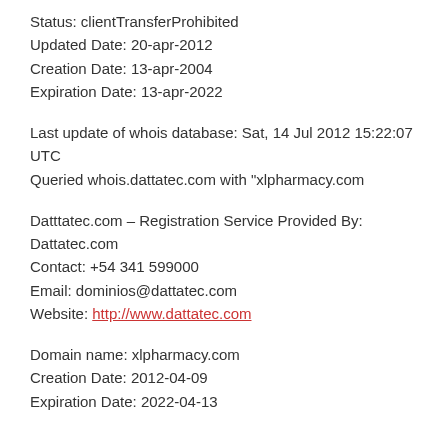Status: clientTransferProhibited
Updated Date: 20-apr-2012
Creation Date: 13-apr-2004
Expiration Date: 13-apr-2022
Last update of whois database: Sat, 14 Jul 2012 15:22:07 UTC
Queried whois.dattatec.com with "xlpharmacy.com
Datttatec.com – Registration Service Provided By: Dattatec.com
Contact: +54 341 599000
Email: dominios@dattatec.com
Website: http://www.dattatec.com
Domain name: xlpharmacy.com
Creation Date: 2012-04-09
Expiration Date: 2022-04-13